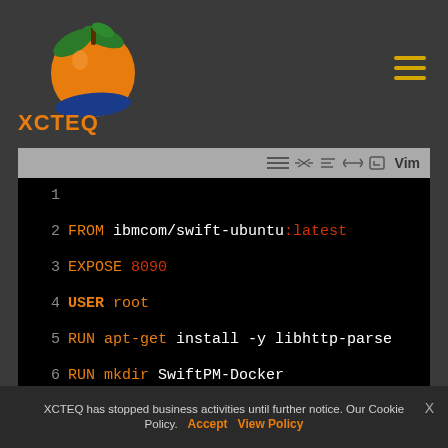[Figure (logo): XCTEQ logo with orange apple/peach with green leaf and blue wave, text XCTEQ in orange below]
[Figure (screenshot): Vim code editor toolbar with hamburger, arrows, and Vim label on grey background]
1
2  FROM ibmcom/swift-ubuntu:latest
3  EXPOSE 8090
4  USER root
5  RUN apt-get install -y libhttp-parse
6  RUN mkdir SwiftPM-Docker
7  RUN cd SwiftPM-Docker
8  WORKDIR SwiftPM-Docker
9
We have Dockerfile which will “SwiftPM-Docker” directory on the
XCTEQ has stopped business activities until further notice. Our Cookie Policy.   Accept   View Policy